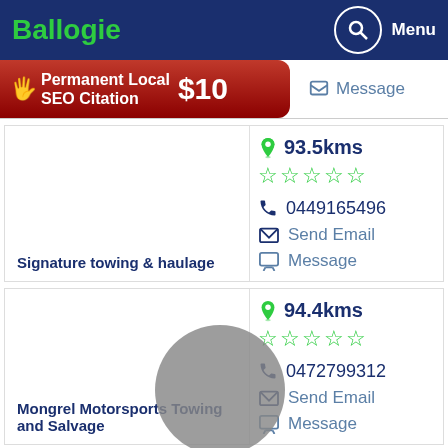Ballogie — Menu
[Figure (infographic): Red ad banner: Permanent Local SEO Citation $10 with hand/cursor icon]
Message
93.5kms
0449165496
Send Email
Message
Signature towing & haulage
94.4kms
0472799312
Send Email
Message
Mongrel Motorsports Towing and Salvage